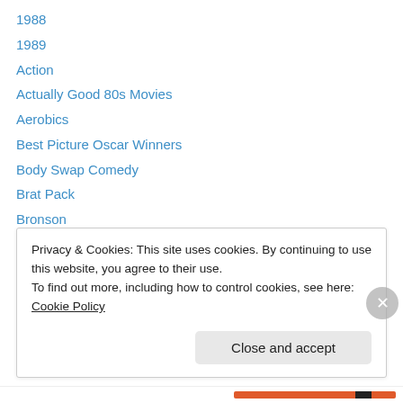1988
1989
Action
Actually Good 80s Movies
Aerobics
Best Picture Oscar Winners
Body Swap Comedy
Brat Pack
Bronson
Chuck Norris
Comic Book Movies
Directed by Women
Dirty Dancing
Privacy & Cookies: This site uses cookies. By continuing to use this website, you agree to their use.
To find out more, including how to control cookies, see here: Cookie Policy
Close and accept